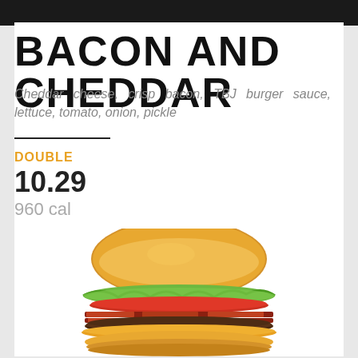BACON AND CHEDDAR
Cheddar cheese, crisp bacon, TBJ burger sauce, lettuce, tomato, onion, pickle
DOUBLE
10.29
960 cal
[Figure (photo): A bacon and cheddar burger with lettuce, tomato, and melted cheese on a toasted bun, photographed from the side]